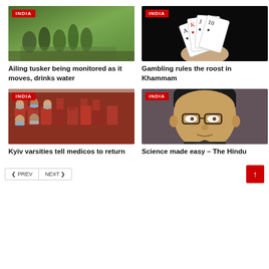[Figure (photo): People crouching around an ailing elephant in a forested area with INDIA badge]
Ailing tusker being monitored as it moves, drinks water
[Figure (photo): Hand holding playing cards (K, A, J, 10 of spades and hearts) on black background with INDIA badge]
Gambling rules the roost in Khammam
[Figure (photo): Passengers seated in airplane wearing masks with INDIA badge]
Kyiv varsities tell medicos to return
[Figure (photo): Close-up portrait of elderly man with glasses with INDIA badge]
Science made easy – The Hindu
< PREV
NEXT >